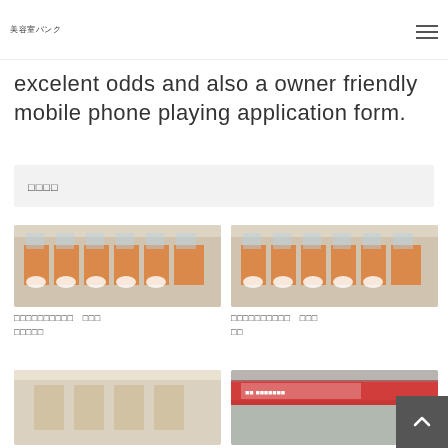美容室バンク
excelent odds and also a owner friendly mobile phone playing application form.
□□□□
[Figure (photo): Interior of a hair salon with orange accents, white chairs, styling stations]
□□□□□□□□□□　□□□ □□□□□
[Figure (photo): Interior of a hair salon with orange accents, white chairs, styling stations (duplicate)]
□□□□□□□□□□　□□□ □□
[Figure (photo): Interior of a salon with light colors]
[Figure (photo): Exterior of a salon with red signage]